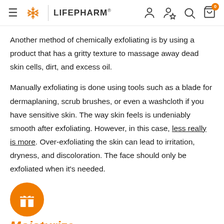LIFEPHARM®
Another method of chemically exfoliating is by using a product that has a gritty texture to massage away dead skin cells, dirt, and excess oil.
Manually exfoliating is done using tools such as a blade for dermaplaning, scrub brushes, or even a washcloth if you have sensitive skin. The way skin feels is undeniably smooth after exfoliating. However, in this case, less really is more. Over-exfoliating the skin can lead to irritation, dryness, and discoloration. The face should only be exfoliated when it's needed.
[Figure (illustration): Orange circle with white gift/present icon]
Moisturize